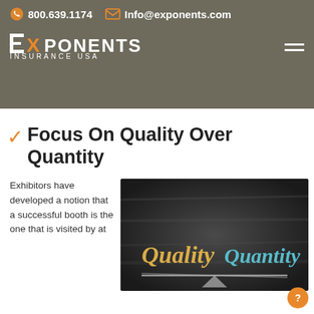800.639.1174  Info@exponents.com  EXPONENTS INSURANCE USA
to your office or warehouse, while augmented reality can help you host the fun game for trade show attendees. Learn gently impress upon them how far you're willing to go to make their relationship with you truly enjoy.
Focus On Quality Over Quantity
Exhibitors have developed a notion that a successful booth is the one that is visited by at
[Figure (photo): Chalkboard with the words 'Quality' in yellow and 'Quantity' in blue, with a balance/seesaw scale underneath, suggesting quality outweighs quantity.]